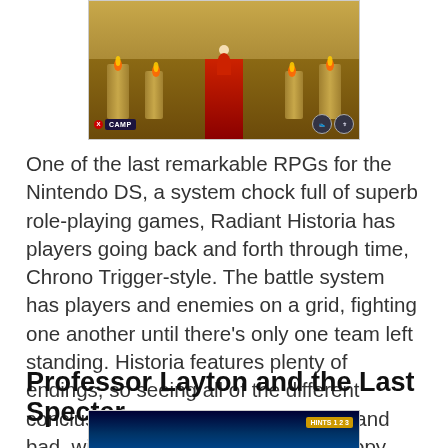[Figure (screenshot): Nintendo DS game screenshot of Radiant Historia showing a dungeon corridor with torches, a character on a red carpet, and UI elements including X CAMP button and item icons]
One of the last remarkable RPGs for the Nintendo DS, a system chock full of superb role-playing games, Radiant Historia has players going back and forth through time, Chrono Trigger-style. The battle system has players and enemies on a grid, fighting one another until there's only one team left standing. Historia features plenty of endings, so seeing all of the different conclusions to the game, both good and bad, will have those who pick up a copy playing for dozens upon dozens of hours.
Professor Layton and the Last Specter
[Figure (screenshot): Nintendo DS game screenshot of Professor Layton and the Last Specter showing a dark blue scene with HINTS badge in corner]